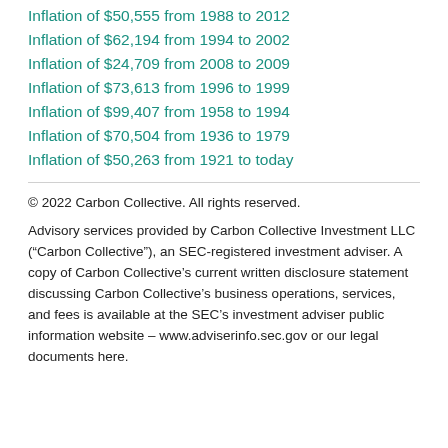Inflation of $50,555 from 1988 to 2012
Inflation of $62,194 from 1994 to 2002
Inflation of $24,709 from 2008 to 2009
Inflation of $73,613 from 1996 to 1999
Inflation of $99,407 from 1958 to 1994
Inflation of $70,504 from 1936 to 1979
Inflation of $50,263 from 1921 to today
© 2022 Carbon Collective. All rights reserved.
Advisory services provided by Carbon Collective Investment LLC (“Carbon Collective”), an SEC-registered investment adviser. A copy of Carbon Collective’s current written disclosure statement discussing Carbon Collective’s business operations, services, and fees is available at the SEC’s investment adviser public information website – www.adviserinfo.sec.gov or our legal documents here.